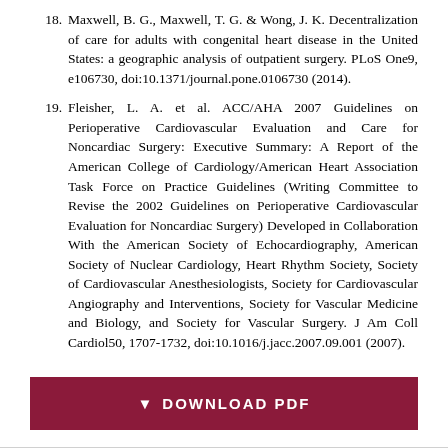18. Maxwell, B. G., Maxwell, T. G. & Wong, J. K. Decentralization of care for adults with congenital heart disease in the United States: a geographic analysis of outpatient surgery. PLoS One9, e106730, doi:10.1371/journal.pone.0106730 (2014).
19. Fleisher, L. A. et al. ACC/AHA 2007 Guidelines on Perioperative Cardiovascular Evaluation and Care for Noncardiac Surgery: Executive Summary: A Report of the American College of Cardiology/American Heart Association Task Force on Practice Guidelines (Writing Committee to Revise the 2002 Guidelines on Perioperative Cardiovascular Evaluation for Noncardiac Surgery) Developed in Collaboration With the American Society of Echocardiography, American Society of Nuclear Cardiology, Heart Rhythm Society, Society of Cardiovascular Anesthesiologists, Society for Cardiovascular Angiography and Interventions, Society for Vascular Medicine and Biology, and Society for Vascular Surgery. J Am Coll Cardiol50, 1707-1732, doi:10.1016/j.jacc.2007.09.001 (2007).
DOWNLOAD PDF